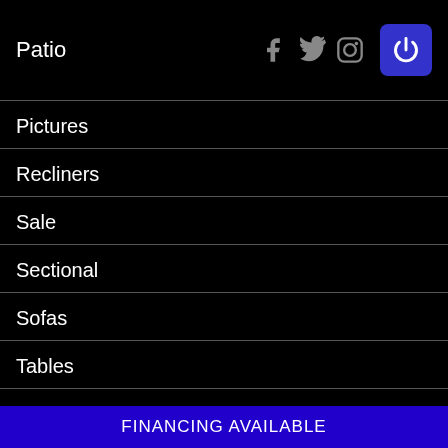Patio
[Figure (logo): Social media icons: Facebook, Twitter, Instagram, and a blue power/P button icon in the top right header area]
Pictures
Recliners
Sale
Sectional
Sofas
Tables
TV Stands
Twin / Full Beds
Youth Bed Sets
FINANCING AVAILABLE